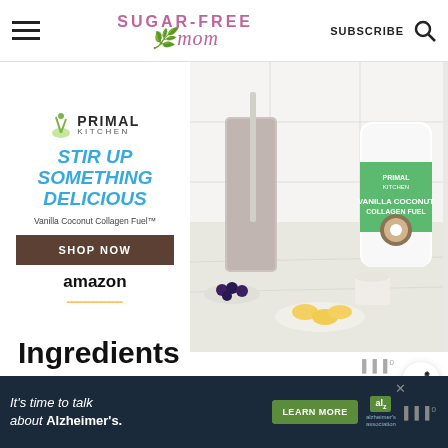Sugar-Free Mom — SUBSCRIBE
[Figure (advertisement): Primal Kitchen Vanilla Coconut Collagen Fuel advertisement with smoothie photo, tagline 'Stir Up Something Delicious', Shop Now button, and Amazon logo]
[Figure (photo): Share button icon (circular with share symbol)]
Ingredients
[Figure (advertisement): Bottom ad bar: 'It's time to talk about Alzheimer's.' with Learn More button and Alzheimer's Association logo]